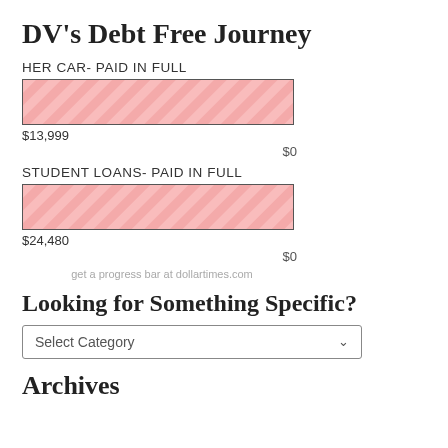DV's Debt Free Journey
HER CAR- PAID IN FULL
[Figure (bar-chart): HER CAR- PAID IN FULL]
STUDENT LOANS- PAID IN FULL
[Figure (bar-chart): STUDENT LOANS- PAID IN FULL]
get a progress bar at dollartimes.com
Looking for Something Specific?
Select Category
Archives